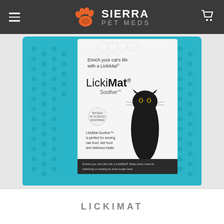Sierra Pet Meds
[Figure (photo): Product photo of LickiMat Soother for cats. A teal/turquoise silicone mat with a white product label showing a black cat and text 'Enrich your cat's life with a LickiMat® LickiMat® Soother'. The mat has a textured surface.]
LICKIMAT